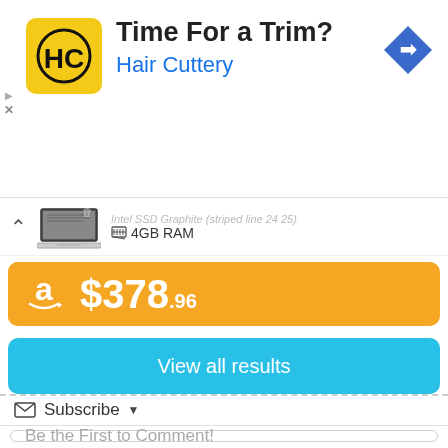[Figure (screenshot): Hair Cuttery advertisement banner with HC logo, title 'Time For a Trim?', subtitle 'Hair Cuttery', and a navigation diamond icon]
4GB RAM
[Figure (screenshot): Amazon price bar showing $378.96 in orange]
View all results
Subscribe
Be the First to Comment!